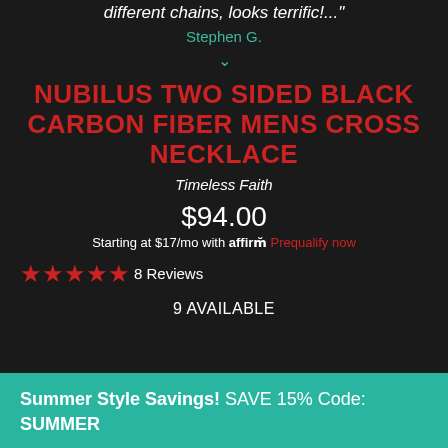different chains, looks terrific!..."
Stephen G.
NUBILUS TWO SIDED BLACK CARBON FIBER MENS CROSS NECKLACE
Timeless Faith
$94.00
Starting at $17/mo with affirm. Prequalify now
4.5 stars — 8 Reviews
9 AVAILABLE
Summer Style Savings! SAVE 15% Code: SUMMER